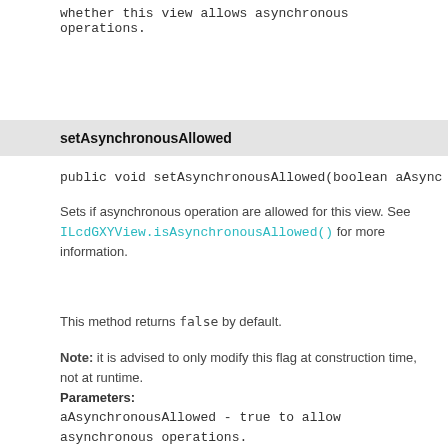whether this view allows asynchronous operations.
setAsynchronousAllowed
public void setAsynchronousAllowed(boolean aAsync
Sets if asynchronous operation are allowed for this view. See ILcdGXYView.isAsynchronousAllowed() for more information.
This method returns false by default.
Note: it is advised to only modify this flag at construction time, not at runtime.
Parameters:
aAsynchronousAllowed - true to allow asynchronous operations.
Since:
2017.0